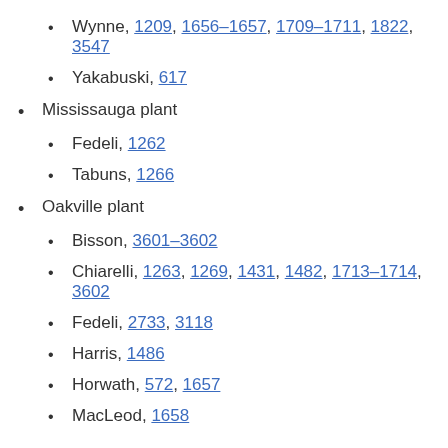Wynne, 1209, 1656–1657, 1709–1711, 1822, 3547
Yakabuski, 617
Mississauga plant
Fedeli, 1262
Tabuns, 1266
Oakville plant
Bisson, 3601–3602
Chiarelli, 1263, 1269, 1431, 1482, 1713–1714, 3602
Fedeli, 2733, 3118
Harris, 1486
Horwath, 572, 1657
MacLeod, 1658